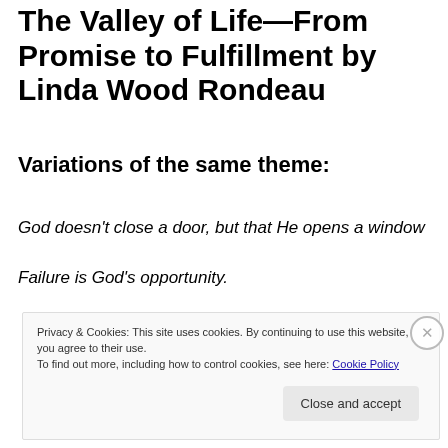The Valley of Life—From Promise to Fulfillment by Linda Wood Rondeau
Variations of the same theme:
God doesn't close a door, but that He opens a window
Failure is God's opportunity.
Privacy & Cookies: This site uses cookies. By continuing to use this website, you agree to their use.
To find out more, including how to control cookies, see here: Cookie Policy